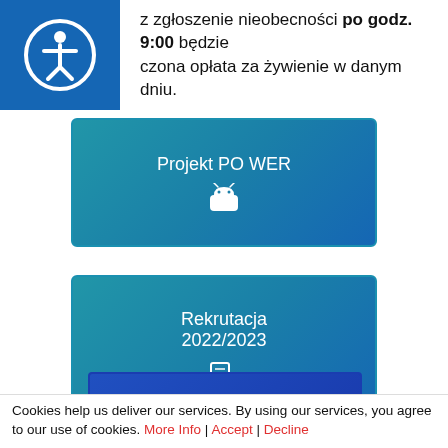z zgłoszenie nieobecności po godz. 9:00 będzie czona opłata za żywienie w danym dniu.
[Figure (screenshot): Button card: Projekt PO WER with Android robot icon]
[Figure (screenshot): Button card: Rekrutacja 2022/2023 with document search icon]
[Figure (screenshot): Button card: Rada Rodziców]
Cookies help us deliver our services. By using our services, you agree to our use of cookies. More Info | Accept | Decline